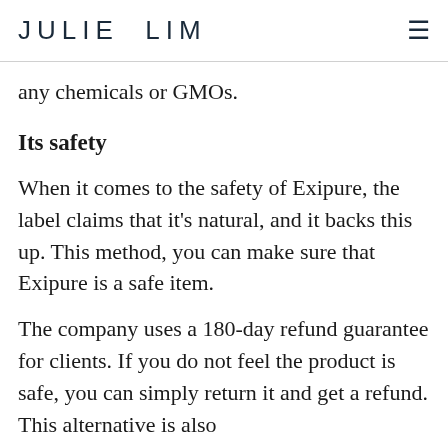JULIE  LIM
any chemicals or GMOs.
Its safety
When it comes to the safety of Exipure, the label claims that it's natural, and it backs this up. This method, you can make sure that Exipure is a safe item.
The company uses a 180-day refund guarantee for clients. If you do not feel the product is safe, you can simply return it and get a refund. This alternative is also